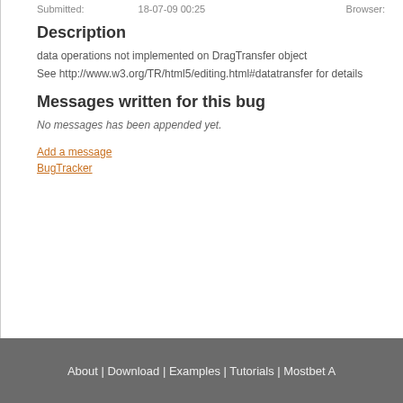Submitted:    18-07-09 00:25    Browser:
Description
data operations not implemented on DragTransfer object
See http://www.w3.org/TR/html5/editing.html#datatransfer for details
Messages written for this bug
No messages has been appended yet.
Add a message
BugTracker
About | Download | Examples | Tutorials | Mostbet A